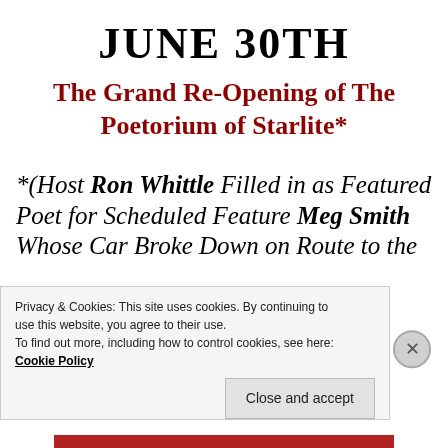JUNE 30TH
The Grand Re-Opening of The Poetorium of Starlite*
*(Host RON WHITTLE Filled in as Featured Poet for Scheduled Feature MEG SMITH Whose Car Broke Down on Route to the
Privacy & Cookies: This site uses cookies. By continuing to use this website, you agree to their use. To find out more, including how to control cookies, see here: Cookie Policy
Close and accept